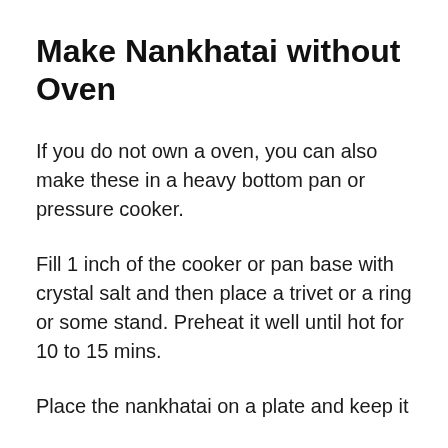Make Nankhatai without Oven
If you do not own a oven, you can also make these in a heavy bottom pan or pressure cooker.
Fill 1 inch of the cooker or pan base with crystal salt and then place a trivet or a ring or some stand. Preheat it well until hot for 10 to 15 mins.
Place the nankhatai on a plate and keep it